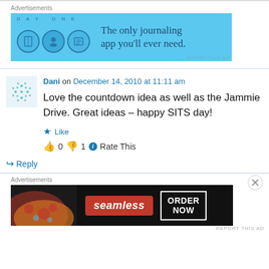[Figure (other): Day One journaling app advertisement banner. Light blue background with app icons and text: 'The only journaling app you'll ever need.']
Dani on December 14, 2010 at 11:11 am
Love the countdown idea as well as the Jammie Drive. Great ideas – happy SITS day!
Like
0  1  Rate This
↳ Reply
[Figure (other): Seamless food delivery advertisement. Dark background with pizza image on left, Seamless red logo badge, and 'ORDER NOW' button in white border box.]